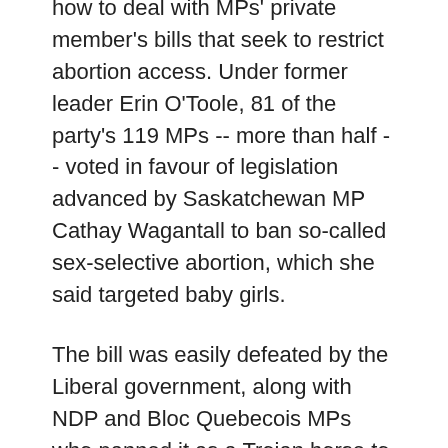how to deal with MPs' private member's bills that seek to restrict abortion access. Under former leader Erin O'Toole, 81 of the party's 119 MPs -- more than half -- voted in favour of legislation advanced by Saskatchewan MP Cathay Wagantall to ban so-called sex-selective abortion, which she said targeted baby girls.
The bill was easily defeated by the Liberal government, along with NDP and Bloc Quebecois MPs who panned it as a Trojan horse to erode reproductive rights.
Brown said Friday that while MPs are allowed to bring forward private member's bills on abortion, he wouldn't let those in his cabinet vote in their favour.